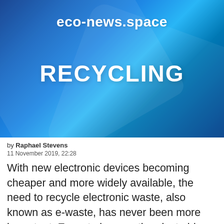[Figure (illustration): Blue gradient banner background with diagonal light streaks and overlaid white text reading 'eco-news.space' and 'RECYCLING']
by Raphael Stevens
11 November 2019, 22:28
With new electronic devices becoming cheaper and more widely available, the need to recycle electronic waste, also known as e-waste, has never been more important. E-waste is more than just old mobile phones and televisions — it includes anything that plugs into a power point